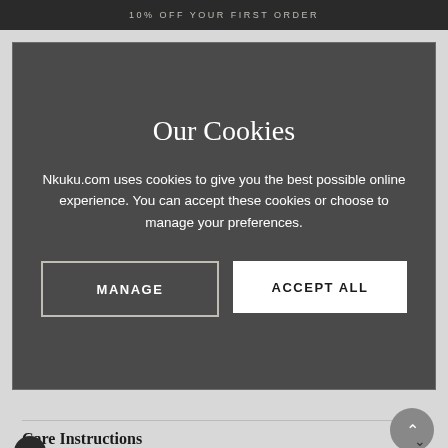10% OFF YOUR FIRST ORDER
Our Cookies
Nkuku.com uses cookies to give you the best possible online experience. You can accept these cookies or choose to manage your preferences.
shape is ideal for display.
Product Details
Care Instructions